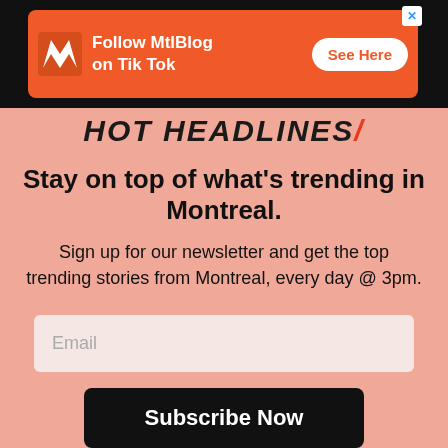[Figure (screenshot): Orange advertisement banner for MtlBlog TikTok with logo, text 'Follow MtlBlog on Tik Tok', and 'See Here' button]
Stay on top of what's trending in Montreal.
Sign up for our newsletter and get the top trending stories from Montreal, every day @ 3pm.
Email
Subscribe Now